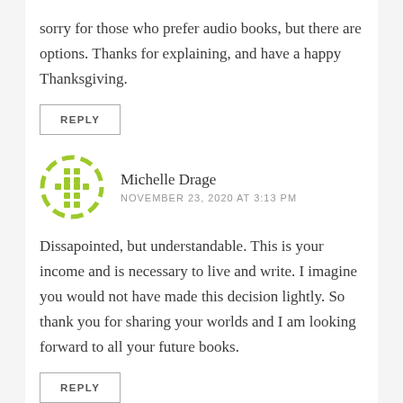sorry for those who prefer audio books, but there are options. Thanks for explaining, and have a happy Thanksgiving.
REPLY
[Figure (illustration): Circular avatar with green dashed border and green cross/plus shape pattern on white background, representing commenter Michelle Drage]
Michelle Drage
NOVEMBER 23, 2020 AT 3:13 PM
Dissapointed, but understandable. This is your income and is necessary to live and write. I imagine you would not have made this decision lightly. So thank you for sharing your worlds and I am looking forward to all your future books.
REPLY